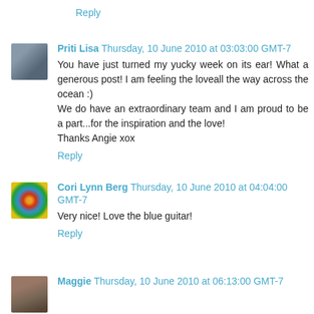Reply
Priti Lisa Thursday, 10 June 2010 at 03:03:00 GMT-7
You have just turned my yucky week on its ear! What a generous post! I am feeling the loveall the way across the ocean :)
We do have an extraordinary team and I am proud to be a part...for the inspiration and the love!
Thanks Angie xox
Reply
Cori Lynn Berg Thursday, 10 June 2010 at 04:04:00 GMT-7
Very nice! Love the blue guitar!
Reply
Maggie Thursday, 10 June 2010 at 06:13:00 GMT-7